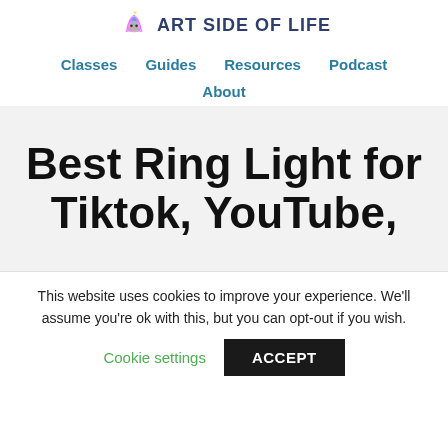ART SIDE OF LIFE
Classes   Guides   Resources   Podcast   About
Best Ring Light for Tiktok, YouTube,
This website uses cookies to improve your experience. We'll assume you're ok with this, but you can opt-out if you wish.
Cookie settings   ACCEPT